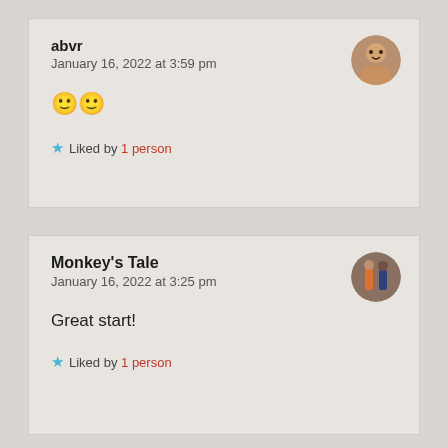abvr
January 16, 2022 at 3:59 pm
🙂🙂
★ Liked by 1 person
[Figure (photo): Round avatar of a person, elderly woman]
Monkey's Tale
January 16, 2022 at 3:25 pm
Great start!
★ Liked by 1 person
[Figure (photo): Round avatar showing two people standing together]